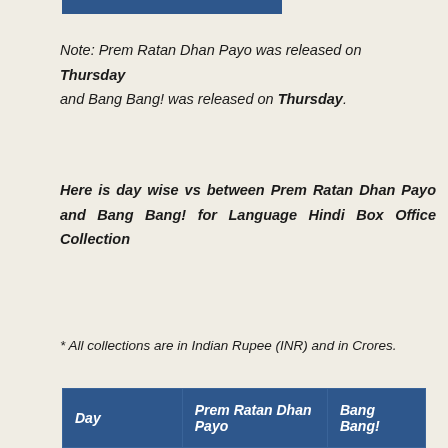[Figure (other): Blue decorative bar at top]
Note: Prem Ratan Dhan Payo was released on Thursday and Bang Bang! was released on Thursday.
Here is day wise vs between Prem Ratan Dhan Payo and Bang Bang! for Language Hindi Box Office Collection
* All collections are in Indian Rupee (INR) and in Crores.
| Day | Prem Ratan Dhan Payo | Bang Bang! |
| --- | --- | --- |